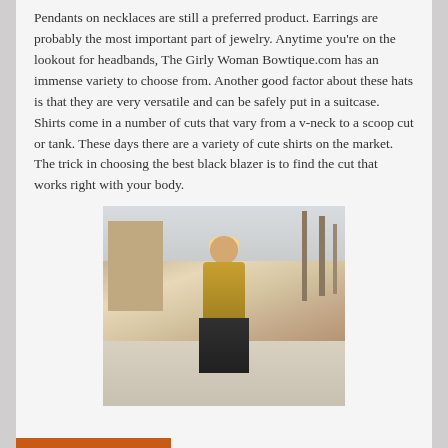Pendants on necklaces are still a preferred product. Earrings are probably the most important part of jewelry. Anytime you're on the lookout for headbands, The Girly Woman Bowtique.com has an immense variety to choose from. Another good factor about these hats is that they are very versatile and can be safely put in a suitcase. Shirts come in a number of cuts that vary from a v-neck to a scoop cut or tank. These days there are a variety of cute shirts on the market. The trick in choosing the best black blazer is to find the cut that works right with your body.
[Figure (photo): A young blonde woman wearing sunglasses and a yellow plaid crop top, holding a cup with a straw, standing outdoors near palm trees and a building, appearing to be at a beach area.]